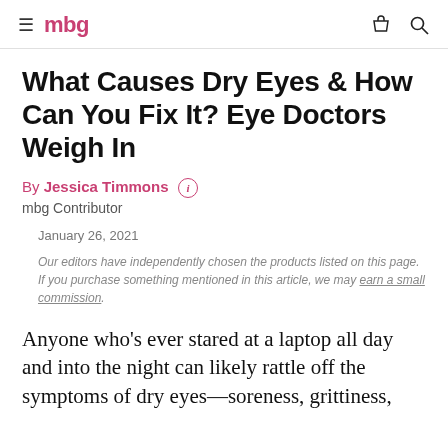mbg
What Causes Dry Eyes & How Can You Fix It? Eye Doctors Weigh In
By Jessica Timmons
mbg Contributor
January 26, 2021
Our editors have independently chosen the products listed on this page. If you purchase something mentioned in this article, we may earn a small commission.
Anyone who's ever stared at a laptop all day and into the night can likely rattle off the symptoms of dry eyes—soreness, grittiness,